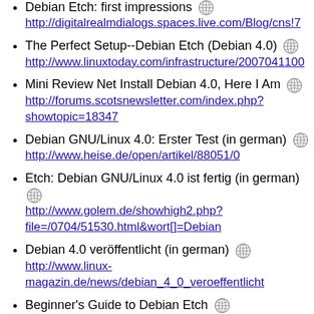Debian Etch: first impressions
http://digitalrealmdialogs.spaces.live.com/Blog/cns!7...
The Perfect Setup--Debian Etch (Debian 4.0)
http://www.linuxtoday.com/infrastructure/2007041100...
Mini Review Net Install Debian 4.0, Here I Am
http://forums.scotsnewsletter.com/index.php?showtopic=18347
Debian GNU/Linux 4.0: Erster Test (in german)
http://www.heise.de/open/artikel/88051/0
Etch: Debian GNU/Linux 4.0 ist fertig (in german)
http://www.golem.de/showhigh2.php?file=/0704/51530.html&wort[]=Debian
Debian 4.0 veröffentlicht (in german)
http://www.linux-magazin.de/news/debian_4_0_veroeffentlicht
Beginner's Guide to Debian Etch
http://www.free-...